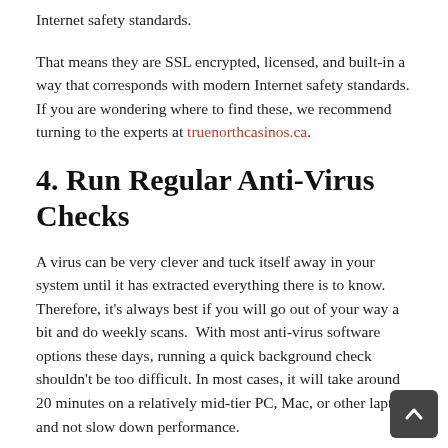Internet safety standards.
That means they are SSL encrypted, licensed, and built-in a way that corresponds with modern Internet safety standards. If you are wondering where to find these, we recommend turning to the experts at truenorthcasinos.ca.
4. Run Regular Anti-Virus Checks
A virus can be very clever and tuck itself away in your system until it has extracted everything there is to know. Therefore, it's always best if you will go out of your way a bit and do weekly scans.  With most anti-virus software options these days, running a quick background check shouldn't be too difficult. In most cases, it will take around 20 minutes on a relatively mid-tier PC, Mac, or other laptop and not slow down performance.
Even if it did cause some discomfort in performance, you would still get peace of mind, knowing that you have checked your system for any weaknesses and faults. Li